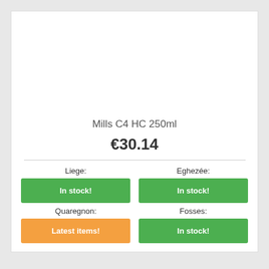Mills C4 HC 250ml
€30.14
Liege:
In stock!
Eghezée:
In stock!
Quaregnon:
Latest items!
Fosses:
In stock!